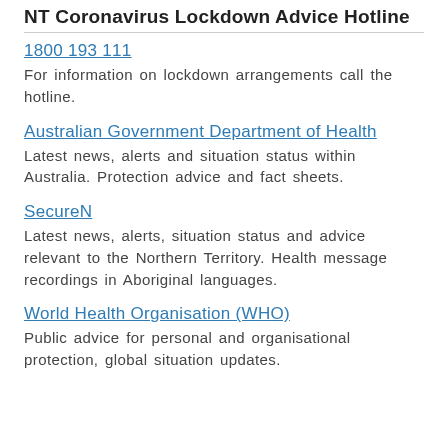NT Coronavirus Lockdown Advice Hotline
1800 193 111
For information on lockdown arrangements call the hotline.
Australian Government Department of Health
Latest news, alerts and situation status within Australia. Protection advice and fact sheets.
SecureN
Latest news, alerts, situation status and advice relevant to the Northern Territory. Health message recordings in Aboriginal languages.
World Health Organisation (WHO)
Public advice for personal and organisational protection, global situation updates.